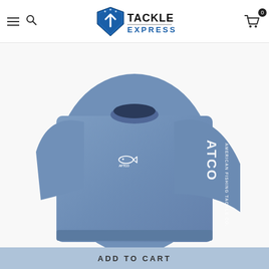Tackle Express — navigation header with hamburger menu, search icon, Tackle Express logo, and cart icon with badge 0
[Figure (photo): Product photo of a blue long-sleeve AFTCO fishing shirt with AFTCO logo on chest and AFTCO / American Fishing Tackle Co. text on sleeve, displayed on a headless mannequin]
ADD TO CART